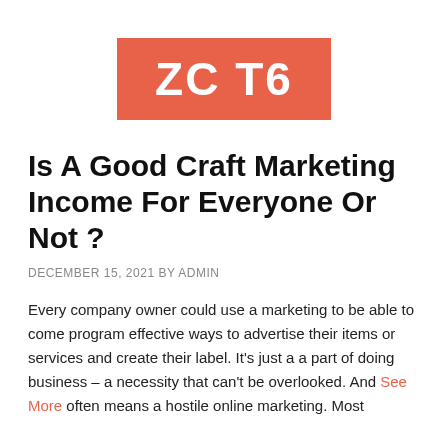[Figure (logo): Orange/coral rectangle logo with white bold text 'ZC T6']
Is A Good Craft Marketing Income For Everyone Or Not ?
DECEMBER 15, 2021 BY ADMIN
Every company owner could use a marketing to be able to come program effective ways to advertise their items or services and create their label. It's just a a part of doing business – a necessity that can't be overlooked. And See More often means a hostile online marketing. Most